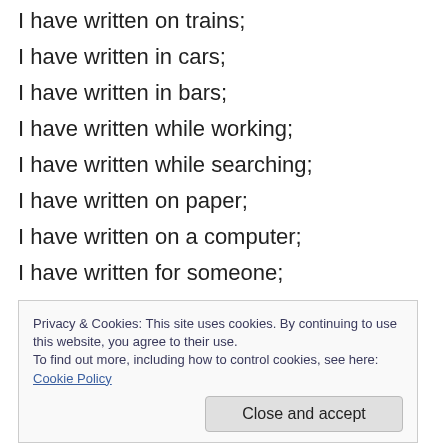I have written on trains;
I have written in cars;
I have written in bars;
I have written while working;
I have written while searching;
I have written on paper;
I have written on a computer;
I have written for someone;
I have written about someone;
I have written for myself;
I have written for my health;
Privacy & Cookies: This site uses cookies. By continuing to use this website, you agree to their use.
To find out more, including how to control cookies, see here: Cookie Policy
I have written in the sun;